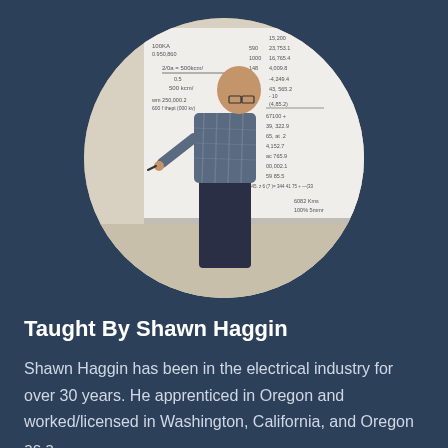[Figure (photo): A man in a blue plaid shirt writing on a whiteboard covered in electrical calculations and numbers, viewed from the side in a circular cropped portrait photo.]
Taught By Shawn Haggin
Shawn Haggin has been in the electrical industry for over 30 years. He apprenticed in Oregon and worked/licensed in Washington, California, and Oregon as a